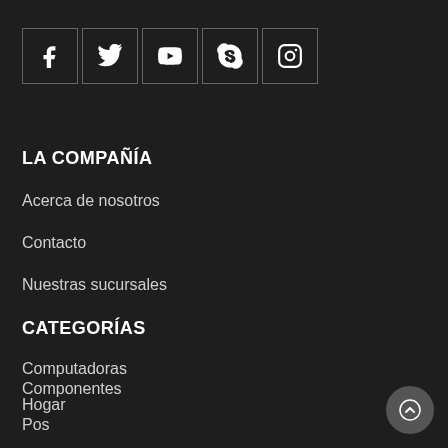[Figure (infographic): Row of 5 social media icon buttons in bordered square boxes: Facebook (f), Twitter (bird), YouTube (play), Skype (S), Instagram (camera)]
LA COMPAÑÍA
Acerca de nosotros
Contacto
Nuestras sucursales
CATEGORÍAS
Computadoras
Hogar
Componentes
Pos